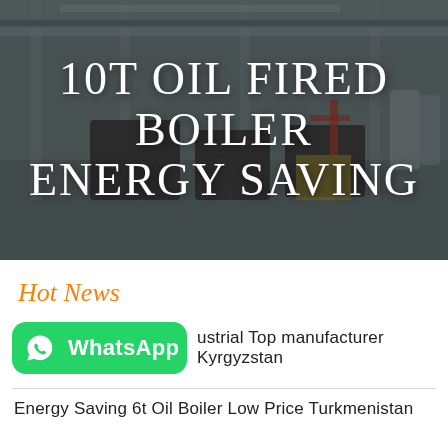[Figure (photo): Industrial boiler manufacturing facility interior with large equipment, cranes, and machinery. Dark overlay with white text overlay reading '10T OIL FIRED BOILER ENERGY SAVING'.]
10T OIL FIRED BOILER ENERGY SAVING
Hot News
WhatsApp  Industrial Top manufacturer Kyrgyzstan
Energy Saving 6t Oil Boiler Low Price Turkmenistan